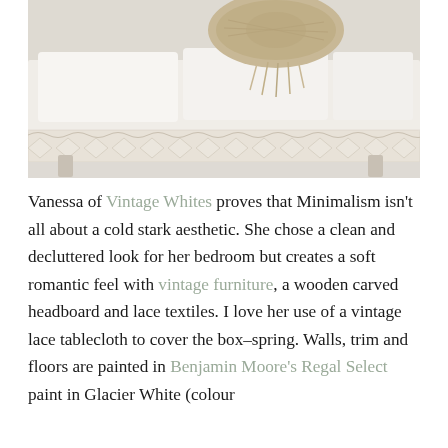[Figure (photo): A close-up photograph of a bed with white linen bedding, a lace-trimmed coverlet over the box spring, and a natural woven circular bag or hat resting on top of the white pillows and bedding. The overall aesthetic is soft, minimal, and vintage.]
Vanessa of Vintage Whites proves that Minimalism isn't all about a cold stark aesthetic. She chose a clean and decluttered look for her bedroom but creates a soft romantic feel with vintage furniture, a wooden carved headboard and lace textiles. I love her use of a vintage lace tablecloth to cover the box–spring. Walls, trim and floors are painted in Benjamin Moore's Regal Select paint in Glacier White (colour